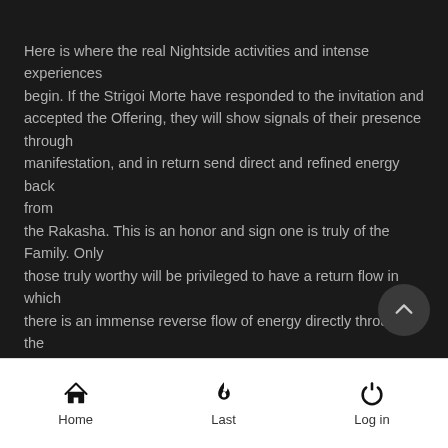Here is where the real Nightside activities and intense experiences begin. If the Strigoi Morte have responded to the invitation and accepted the Offering, they will show signals of their presence through manifestation, and in return send direct and refined energy back from the Rakasha. This is an honor and sign one is truly of the Family. Only those truly worthy will be privileged to have a return flow in which there is an immense reverse flow of energy directly through the mirror and into one's etheric body.
Home | Last | Log in